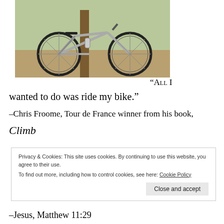[Figure (photo): A road bicycle leaning against a wooden post outdoors, with trees and dry grass in the background.]
“All I wanted to do was ride my bike.” –Chris Froome, Tour de France winner from his book, Climb
Privacy & Cookies: This site uses cookies. By continuing to use this website, you agree to their use.
To find out more, including how to control cookies, see here: Cookie Policy
Close and accept
–Jesus, Matthew 11:29